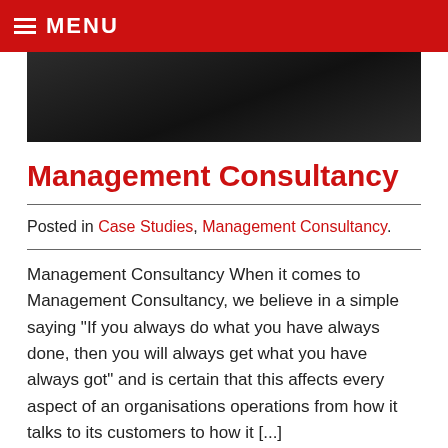MENU
[Figure (photo): Dark/black and white photograph, appears to show a person or silhouette against a dark background]
Management Consultancy
Posted in Case Studies, Management Consultancy.
Management Consultancy When it comes to Management Consultancy, we believe in a simple saying “If you always do what you have always done, then you will always get what you have always got” and is certain that this affects every aspect of an organisations operations from how it talks to its customers to how it [...]